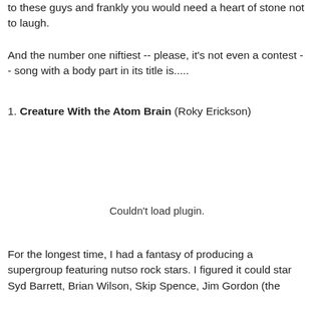to these guys and frankly you would need a heart of stone not to laugh.
And the number one niftiest -- please, it's not even a contest -- song with a body part in its title is.....
1. Creature With the Atom Brain (Roky Erickson)
[Figure (other): Couldn't load plugin. — embedded audio/media plugin placeholder]
For the longest time, I had a fantasy of producing a supergroup featuring nutso rock stars. I figured it could star Syd Barrett, Brian Wilson, Skip Spence, Jim Gordon (the